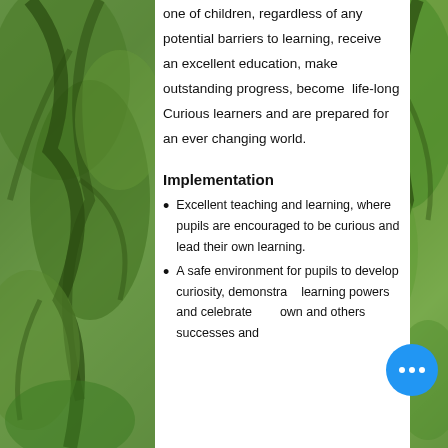one of children, regardless of any potential barriers to learning, receive an excellent education, make outstanding progress, become life-long Curious learners and are prepared for an ever changing world.
Implementation
Excellent teaching and learning, where pupils are encouraged to be curious and lead their own learning.
A safe environment for pupils to develop curiosity, demonstrate learning powers and celebrate own and others successes and